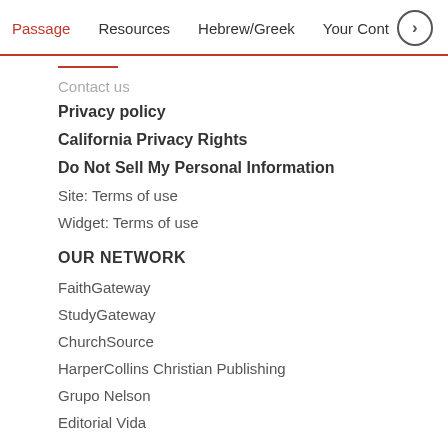Passage  Resources  Hebrew/Greek  Your Cont›
Contact us
Privacy policy
California Privacy Rights
Do Not Sell My Personal Information
Site: Terms of use
Widget: Terms of use
OUR NETWORK
FaithGateway
StudyGateway
ChurchSource
HarperCollins Christian Publishing
Grupo Nelson
Editorial Vida